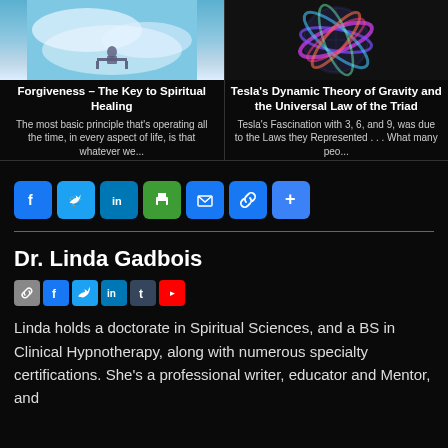[Figure (illustration): Article thumbnail: person sitting on bench overlooking misty mountains/clouds]
Forgiveness – The Key to Spiritual Healing
The most basic principle that's operating all the time, in every aspect of life, is that whatever we...
[Figure (illustration): Article thumbnail: colorful geometric sphere/orb with rainbow rings on dark background]
Tesla's Dynamic Theory of Gravity and the Universal Law of the Triad
Tesla's Fascination with 3, 6, and 9, was due to the Laws they Represented . . . What many peo...
[Figure (infographic): Social media share buttons: Facebook, Twitter, LinkedIn, Print, Email, Link, More]
Dr. Linda Gadbois
[Figure (infographic): Author social media icon links: Link, Facebook, Twitter, LinkedIn, Tumblr, YouTube]
Linda holds a doctorate in Spiritual Sciences, and a BS in Clinical Hypnotherapy, along with numerous specialty certifications. She's a professional writer, educator and Mentor, and